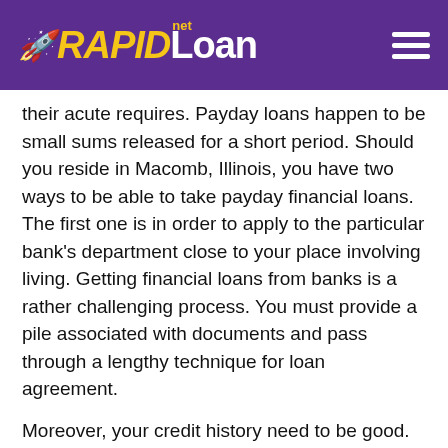RAPIDLoan.net
their acute requires. Payday loans happen to be small sums released for a short period. Should you reside in Macomb, Illinois, you have two ways to be able to take payday financial loans. The first one is in order to apply to the particular bank's department close to your place involving living. Getting financial loans from banks is a rather challenging process. You must provide a pile associated with documents and pass through a lengthy technique for loan agreement.
Moreover, your credit history need to be good. Nonetheless where to find payday loans in Macomb with no credit check?
When your credit document is bad, nevertheless you need funds advance promptly, is actually better to